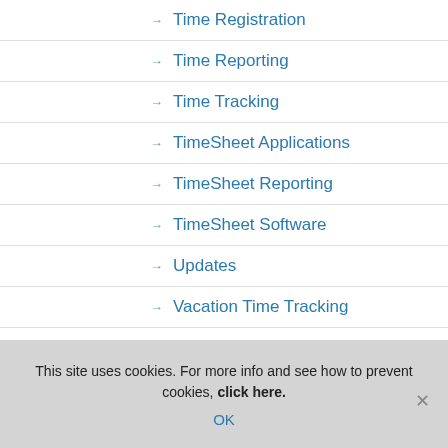→ Time Registration
→ Time Reporting
→ Time Tracking
→ TimeSheet Applications
→ TimeSheet Reporting
→ TimeSheet Software
→ Updates
→ Vacation Time Tracking
This site uses cookies. For more info and see how to prevent cookies, click here. OK